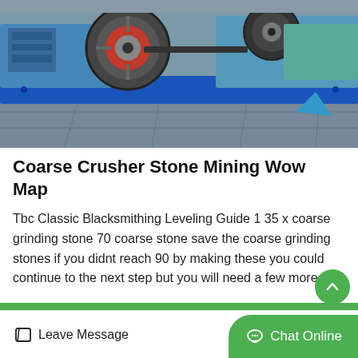[Figure (photo): Industrial mining crusher machine with blue steel frame, large flywheel/pulley, and mechanical components in a workshop or factory setting.]
Coarse Crusher Stone Mining Wow Map
Tbc Classic Blacksmithing Leveling Guide 1 35 x coarse grinding stone 70 coarse stone save the coarse grinding stones if you didnt reach 90 by making these you could continue to the next step but you will need a few more
Get Price
Leave Message
Chat Online